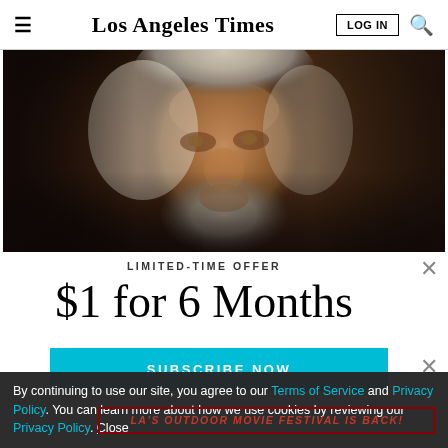Los Angeles Times
[Figure (photo): Close-up portrait of an elderly man with long white/gray hair and beard, dimly lit, dark background]
LIMITED-TIME OFFER
$1 for 6 Months
SUBSCRIBE NOW
By continuing to use our site, you agree to our Terms of Service and Privacy Policy. You can learn more about how we use cookies by reviewing our Privacy Policy. Close
LA'S OUTDOOR MOVIE FESTIVAL IS BACK!